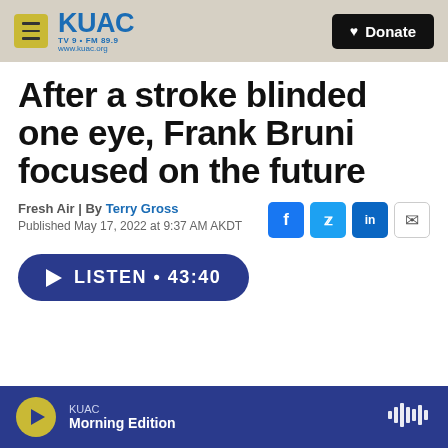KUAC TV9 • FM 89.9 www.kuac.org | Donate
After a stroke blinded one eye, Frank Bruni focused on the future
Fresh Air | By Terry Gross
Published May 17, 2022 at 9:37 AM AKDT
LISTEN • 43:40
KUAC Morning Edition